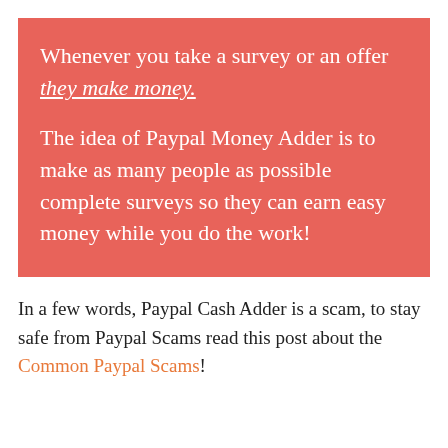Whenever you take a survey or an offer they make money.
The idea of Paypal Money Adder is to make as many people as possible complete surveys so they can earn easy money while you do the work!
In a few words, Paypal Cash Adder is a scam, to stay safe from Paypal Scams read this post about the Common Paypal Scams!